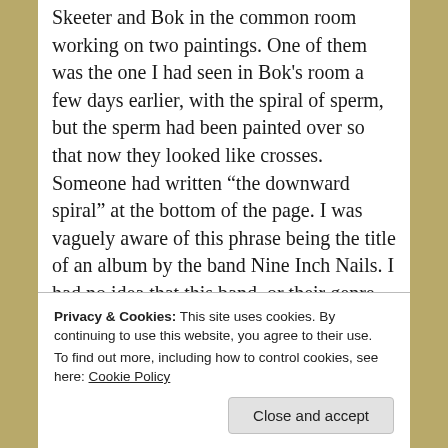Skeeter and Bok in the common room working on two paintings. One of them was the one I had seen in Bok's room a few days earlier, with the spiral of sperm, but the sperm had been painted over so that now they looked like crosses.  Someone had written “the downward spiral” at the bottom of the page. I was vaguely aware of this phrase being the title of an album by the band Nine Inch Nails. I had no idea that this band, or their genre of industrial rock, even existed until a few months ago; no one listened to that back home in Santa Lucia County, at
Privacy & Cookies: This site uses cookies. By continuing to use this website, you agree to their use.
To find out more, including how to control cookies, see here: Cookie Policy